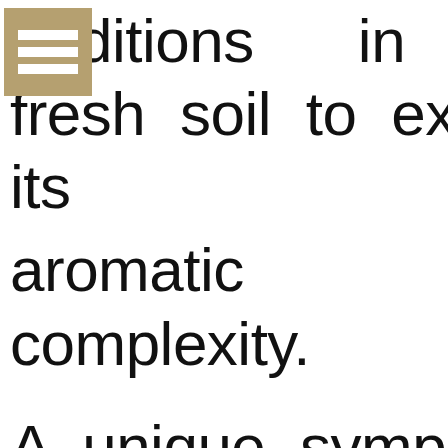[Figure (logo): A square logo icon with a tan/gold background and three white horizontal bars (hamburger menu style)]
onditions in this fresh soil to express its exemplary aromatic complexity.

A unique symphony of elements, where